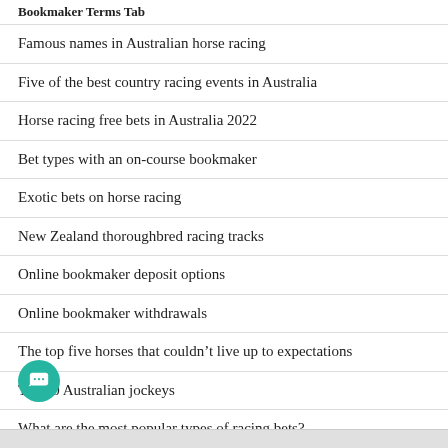Bookmaker Terms Tab
Famous names in Australian horse racing
Five of the best country racing events in Australia
Horse racing free bets in Australia 2022
Bet types with an on-course bookmaker
Exotic bets on horse racing
New Zealand thoroughbred racing tracks
Online bookmaker deposit options
Online bookmaker withdrawals
The top five horses that couldn't live up to expectations
Top 10 Australian jockeys
What are the most popular types of racing bets?
Quaddie or quadrella bets
h bookmakers can I stream live racing with?